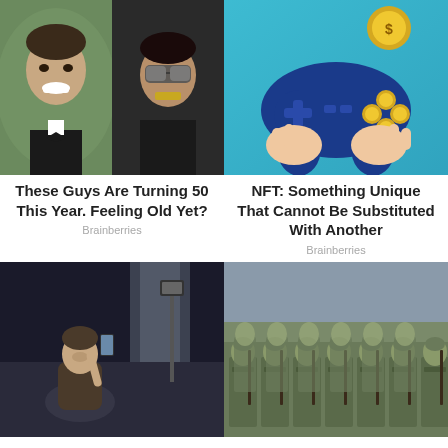[Figure (photo): Two men side by side: left is a smiling man in a tuxedo with bow tie, right is a man wearing sunglasses with gold teeth grills]
[Figure (illustration): Illustrated hands holding a blue game controller with gold coins/cryptocurrency tokens, NFT concept art with teal background]
These Guys Are Turning 50 This Year. Feeling Old Yet?
Brainberries
NFT: Something Unique That Cannot Be Substituted With Another
Brainberries
[Figure (photo): Person sitting on floor in dimly lit room, looking up at a phone or device on a stand/tripod, dark moody atmosphere]
[Figure (photo): Rows of soldiers in uniform marching or standing in formation, military parade]